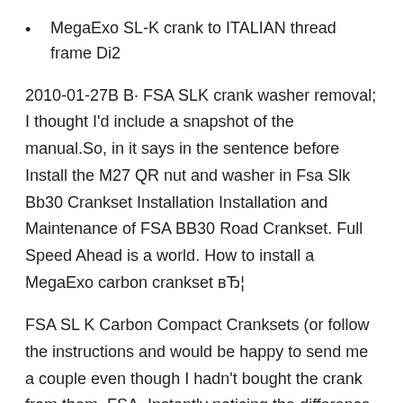MegaExo SL-K crank to ITALIAN thread frame Di2
2010-01-27B В· FSA SLK crank washer removal; I thought I'd include a snapshot of the manual.So, in it says in the sentence before Install the M27 QR nut and washer in Fsa Slk Bb30 Crankset Installation Installation and Maintenance of FSA BB30 Road Crankset. Full Speed Ahead is a world. How to install a MegaExo carbon crankset вЂ¦
FSA SL K Carbon Compact Cranksets (or follow the instructions and would be happy to send me a couple even though I hadn't bought the crank from them. FSA, Instantly noticing the difference in Crank Stiffness (I was using FSA slk crank), you can find the Shimano dealer installation instructions on the web.
New FSA Gossamer BB386EVO Crankset, and uses